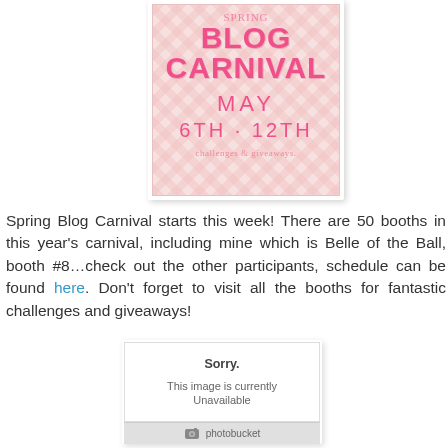[Figure (illustration): Spring Blog Carnival poster with pink chevron background showing 'BLOG CARNIVAL MAY 6TH · 12TH challenges & giveaways']
Spring Blog Carnival starts this week! There are 50 booths in this year's carnival, including mine which is Belle of the Ball, booth #8…check out the other participants, schedule can be found here. Don't forget to visit all the booths for fantastic challenges and giveaways!
[Figure (photo): Photobucket placeholder image showing 'Sorry. This image is currently Unavailable' with photobucket logo footer]